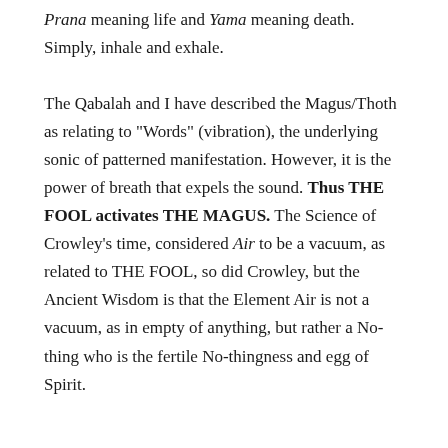Prana meaning life and Yama meaning death. Simply, inhale and exhale.
The Qabalah and I have described the Magus/Thoth as relating to "Words" (vibration), the underlying sonic of patterned manifestation. However, it is the power of breath that expels the sound. Thus THE FOOL activates THE MAGUS. The Science of Crowley’s time, considered Air to be a vacuum, as related to THE FOOL, so did Crowley, but the Ancient Wisdom is that the Element Air is not a vacuum, as in empty of anything, but rather a Nothing who is the fertile No-thingness and egg of Spirit.